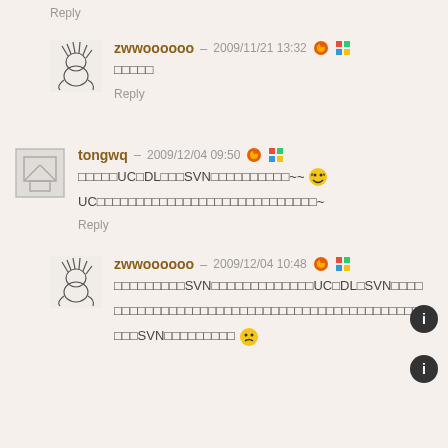Reply
zwwoooooo – 2009/11/21 13:32
□□□□□
Reply
tongwq – 2009/12/04 09:50
□□□□□UC□DL□□□SVN□□□□□□□□□□~~
UC□□□□□□□□□□□□□□□□□□□□□□□□□□□□~
Reply
zwwoooooo – 2009/12/04 10:48
□□□□□□□□□SVN□□□□□□□□□□□□□UC□DL□SVN□□□□
□□□□□□□□□□□□□□□□□□□□□□□□□□□□□□□□□□□□□□□□
□□□SVN□□□□□□□□□